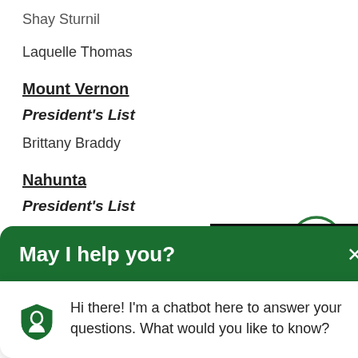Shay Sturnil
Laquelle Thomas
Mount Vernon
President's List
Brittany Braddy
Nahunta
President's List
Tessa Dixon
[Figure (other): Green circular accessibility icon with a person figure inside]
[Figure (screenshot): Chat widget popup with green header saying 'May I help you?' and chatbot message 'Hi there! I'm a chatbot here to answer your questions. What would you like to know?']
[Figure (other): Black privacy notice overlay on right side with close button and yellow chat button]